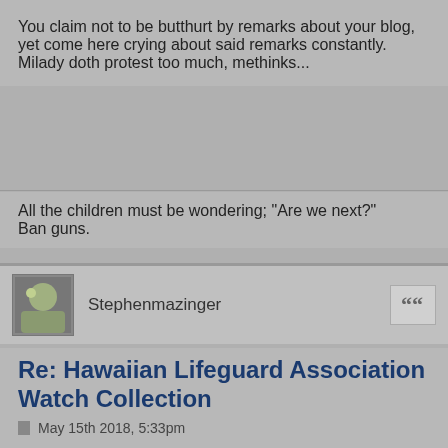You claim not to be butthurt by remarks about your blog, yet come here crying about said remarks constantly.
Milady doth protest too much, methinks...
All the children must be wondering; "Are we next?"
Ban guns.
Stephenmazinger
Re: Hawaiian Lifeguard Association Watch Collection
May 15th 2018, 5:33pm
Let's recap.
I posted that omega is capitalized on the supposed moon landing.
Jk1615 changed my screen name to mr. Bazinga
I reply by changing his screen name